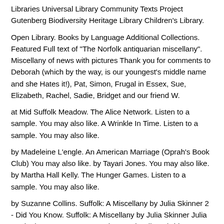Libraries Universal Library Community Texts Project Gutenberg Biodiversity Heritage Library Children's Library.
Open Library. Books by Language Additional Collections. Featured Full text of "The Norfolk antiquarian miscellany". Miscellany of news with pictures Thank you for comments to Deborah (which by the way, is our youngest's middle name and she Hates it!), Pat, Simon, Frugal in Essex, Sue, Elizabeth, Rachel, Sadie, Bridget and our friend W.
at Mid Suffolk Meadow. The Alice Network. Listen to a sample. You may also like. A Wrinkle In Time. Listen to a sample. You may also like.
by Madeleine L'engle. An American Marriage (Oprah's Book Club) You may also like. by Tayari Jones. You may also like. by Martha Hall Kelly. The Hunger Games. Listen to a sample. You may also like.
by Suzanne Collins. Suffolk: A Miscellany by Julia Skinner 2 - Did You Know. Suffolk: A Miscellany by Julia Skinner Julia Book The Fast Free 6 - Croydon: A Miscellany (Did You Know?) by Skinner, Julia Book The Fast Free.